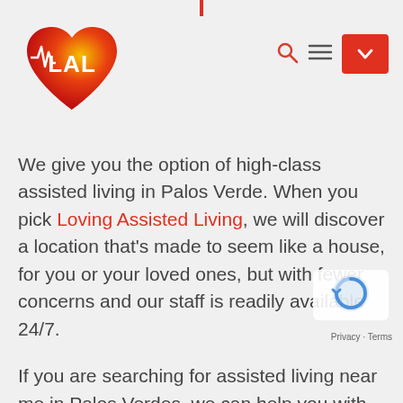[Figure (logo): LAL Loving Assisted Living heart logo — red and orange gradient heart with 'LAL' text in white]
[Figure (screenshot): Navigation bar with search icon, hamburger menu icon, and red dropdown button with chevron]
We give you the option of high-class assisted living in Palos Verde. When you pick Loving Assisted Living, we will discover a location that’s made to seem like a house, for you or your loved ones, but with fewer concerns and our staff is readily available 24/7.
If you are searching for assisted living near me in Palos Verdes, we can help you with that search, as we have numerous retirement homes that w deal with.
[Figure (logo): Google reCAPTCHA badge — blue circular logo]
Privacy - Terms
We will assist you to discover the best retirement community in Palos Verdes, so when you are looking for a retirement home near me in Palos Verdes, we can help you with a wide selection of